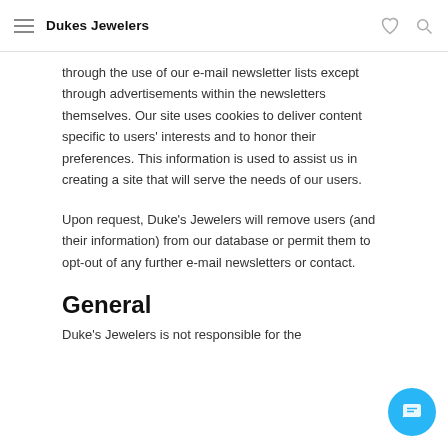Dukes Jewelers
through the use of our e-mail newsletter lists except through advertisements within the newsletters themselves. Our site uses cookies to deliver content specific to users' interests and to honor their preferences. This information is used to assist us in creating a site that will serve the needs of our users.
Upon request, Duke's Jewelers will remove users (and their information) from our database or permit them to opt-out of any further e-mail newsletters or contact.
General
Duke's Jewelers is not responsible for the